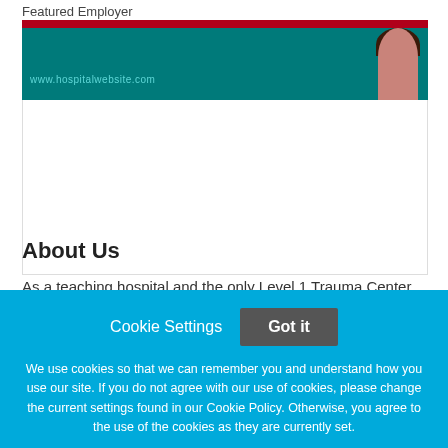Featured Employer
[Figure (photo): Hospital/employer banner with teal and red color scheme, featuring a URL text and a partial photo of a person on the right side.]
About Us
As a teaching hospital and the only Level 1 Trauma Center
Cookie Settings   Got it

We use cookies so that we can remember you and understand how you use our site. If you do not agree with our use of cookies, please change the current settings found in our Cookie Policy. Otherwise, you agree to the use of the cookies as they are currently set.